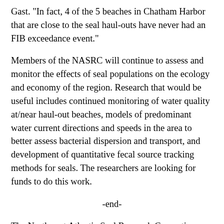Gast. "In fact, 4 of the 5 beaches in Chatham Harbor that are close to the seal haul-outs have never had an FIB exceedance event."
Members of the NASRC will continue to assess and monitor the effects of seal populations on the ecology and economy of the region. Research that would be useful includes continued monitoring of water quality at/near haul-out beaches, models of predominant water current directions and speeds in the area to better assess bacterial dispersion and transport, and development of quantitative fecal source tracking methods for seals. The researchers are looking for funds to do this work.
-end-
The Northwest Atlantic Seal Research Consortium, an alliance of scientists, fishers, and resource managers, was recently created to help with concerns about increasing seal populations along the New England coast and their